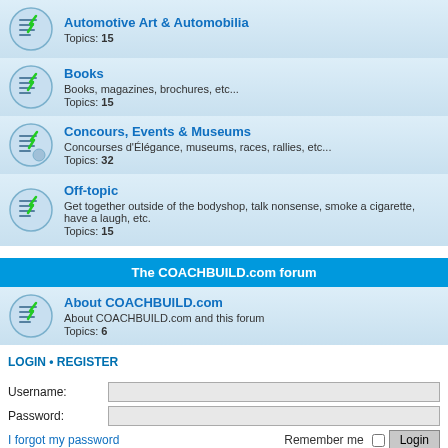Automotive Art & Automobilia
Topics: 15
Books
Books, magazines, brochures, etc...
Topics: 15
Concours, Events & Museums
Concourses d'Élégance, museums, races, rallies, etc...
Topics: 32
Off-topic
Get together outside of the bodyshop, talk nonsense, smoke a cigarette, have a laugh, etc.
Topics: 15
The COACHBUILD.com forum
About COACHBUILD.com
About COACHBUILD.com and this forum
Topics: 6
LOGIN • REGISTER
Username:
Password:
I forgot my password
Remember me
WHO IS ONLINE